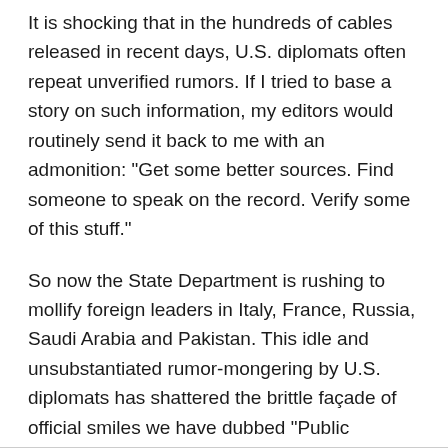It is shocking that in the hundreds of cables released in recent days, U.S. diplomats often repeat unverified rumors. If I tried to base a story on such information, my editors would routinely send it back to me with an admonition: "Get some better sources. Find someone to speak on the record. Verify some of this stuff."
So now the State Department is rushing to mollify foreign leaders in Italy, France, Russia, Saudi Arabia and Pakistan. This idle and unsubstantiated rumor-mongering by U.S. diplomats has shattered the brittle façade of official smiles we have dubbed "Public Diplomacy" -- a euphemism for public affairs that some also call "propaganda."